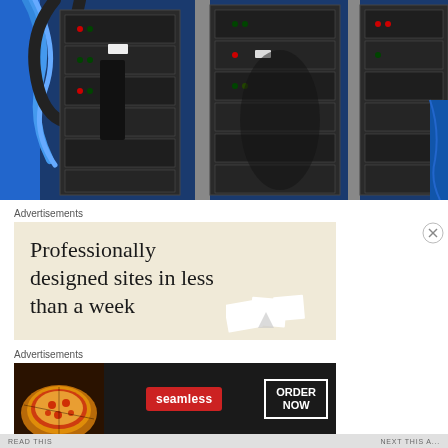[Figure (photo): Photo of server rack equipment with blue cables, black server modules with indicator lights, and metallic mounting frames. Blue tarp visible on the right side.]
Advertisements
[Figure (other): Advertisement banner with beige/cream background. Large serif text reads: 'Professionally designed sites in less than a week'. Small white cards visible in bottom right corner.]
Advertisements
[Figure (other): Seamless food delivery advertisement. Dark background with pizza image on left, red Seamless logo badge in center, and white-outlined ORDER NOW button on right.]